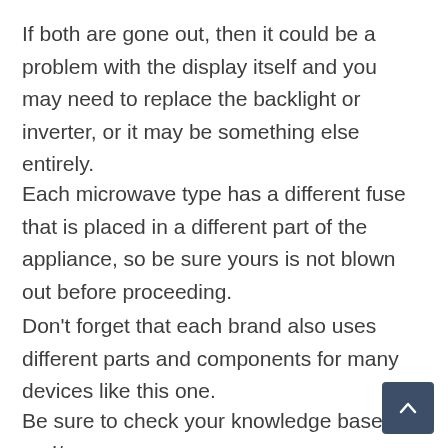If both are gone out, then it could be a problem with the display itself and you may need to replace the backlight or inverter, or it may be something else entirely.
Each microwave type has a different fuse that is placed in a different part of the appliance, so be sure yours is not blown out before proceeding.
Don't forget that each brand also uses different parts and components for many devices like this one.
Be sure to check your knowledge base and/or